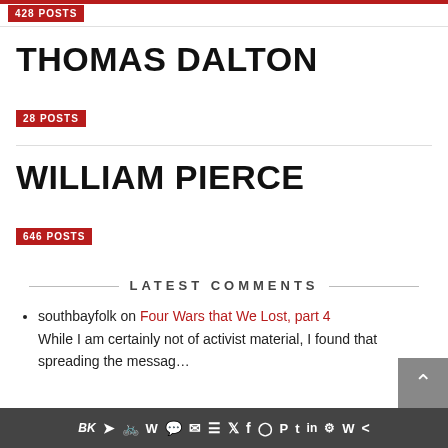428 POSTS
THOMAS DALTON
28 POSTS
WILLIAM PIERCE
646 POSTS
LATEST COMMENTS
southbayfolk on Four Wars that We Lost, part 4
While I am certainly not of activist material, I found that spreading the messag…
social share icons bar